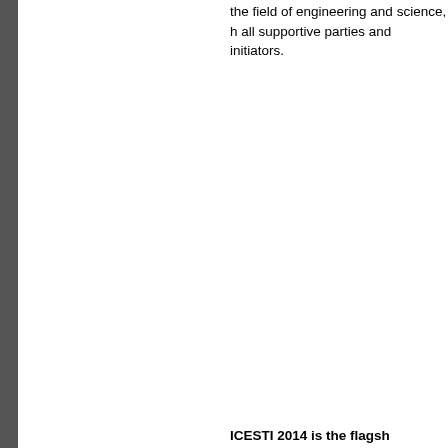the field of engineering and science, h all supportive parties and initiators.
ICESTI 2014 is the flagsh